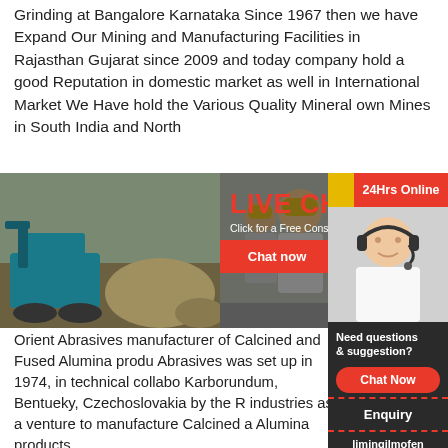Grinding at Bangalore Karnataka Since 1967 then we have Expand Our Mining and Manufacturing Facilities in Rajasthan Gujarat since 2009 and today company hold a good Reputation in domestic market as well in International Market We Have hold the Various Quality Mineral own Mines in South India and North
[Figure (photo): Mining machinery and workers in hard hats at industrial site, with a live chat popup overlay showing LIVE CHAT / Click for a Free Consultation / Chat now / Chat later buttons]
Orient Abrasives manufacturer of Calcined and Fused Alumina produ Abrasives was set up in 1974, in technical collabo Karborundum, Bentueky, Czechoslovakia by the R industries as a venture to manufacture Calcined a Alumina products.
[Figure (infographic): Right sidebar with 24Hrs Online bar, headset customer service agent photo, Need questions & suggestion? panel with Chat Now button, Enquiry link, and limingjlmofen link]